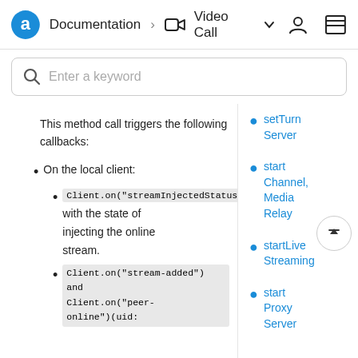Documentation > Video Call
Enter a keyword
This method call triggers the following callbacks:
On the local client:
Client.on("streamInjectedStatus"), with the state of injecting the online stream.
Client.on("stream-added") and Client.on("peer-online")(uid:
setTurnServer
startChannel, MediaRelay
startLiveStreaming
startProxyServer